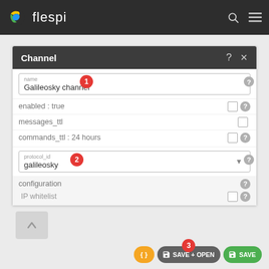[Figure (screenshot): Flespi web application screenshot showing a Channel configuration dialog with fields: name (Galileosky channel), enabled:true, messages_ttl, commands_ttl:24 hours, protocol_id (galileosky), configuration, IP whitelist. Numbered badges 1, 2, 3 highlight key UI elements. Bottom toolbar shows JSON, SAVE+OPEN, and SAVE buttons.]